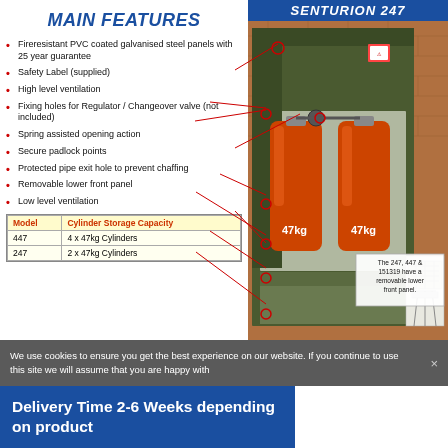SENTURION 247
MAIN FEATURES
Fireresistant PVC coated galvanised steel panels with 25 year guarantee
Safety Label (supplied)
High level ventilation
Fixing holes for Regulator / Changeover valve (not included)
Spring assisted opening action
Secure padlock points
Protected pipe exit hole to prevent chaffing
Removable lower front panel
Low level ventilation
| Model | Cylinder Storage Capacity |
| --- | --- |
| 447 | 4 x 47kg Cylinders |
| 247 | 2 x 47kg Cylinders |
[Figure (photo): Photo of Senturion 247 gas cylinder storage cabinet containing two orange 47kg propane cylinders, with open door showing interior, mounted against brick wall. Callout note: The 247, 447 & 151319 have a removable lower front panel.]
We use cookies to ensure you get the best experience on our website. If you continue to use this site we will assume that you are happy with
Delivery Time 2-6 Weeks depending on product